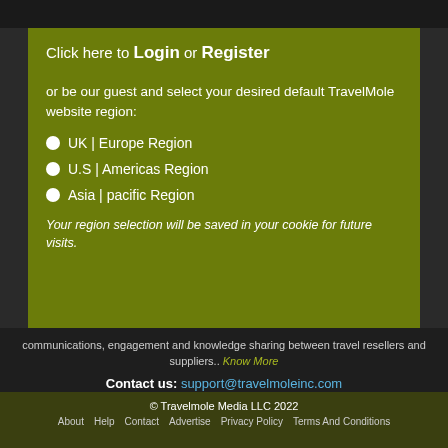Click here to Login or Register
or be our guest and select your desired default TravelMole website region:
UK | Europe Region
U.S | Americas Region
Asia | pacific Region
Your region selection will be saved in your cookie for future visits.
communications, engagement and knowledge sharing between travel resellers and suppliers.. Know More
Contact us: support@travelmoleinc.com
© Travelmole Media LLC 2022  About  Help  Contact  Advertise  Privacy Policy  Terms And Conditions